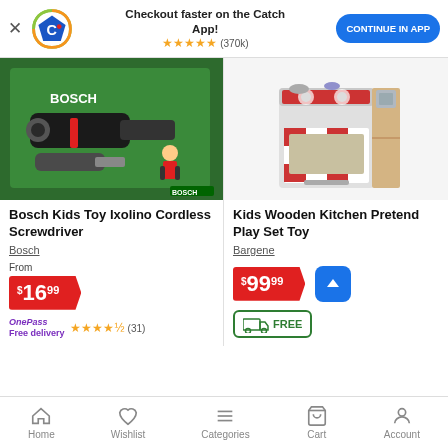[Figure (screenshot): Catch app promotional banner with Catch logo, star rating 4.8 (370k reviews), and Continue in App button]
[Figure (photo): Bosch Kids Toy Ixolino Cordless Screwdriver product image in green packaging]
Bosch Kids Toy Ixolino Cordless Screwdriver
Bosch
From
$16.99
OnePass Free delivery ★★★★½ (31)
[Figure (photo): Kids Wooden Kitchen Pretend Play Set Toy product image]
Kids Wooden Kitchen Pretend Play Set Toy
Bargene
$99.99
FREE delivery
Home  Wishlist  Categories  Cart  Account